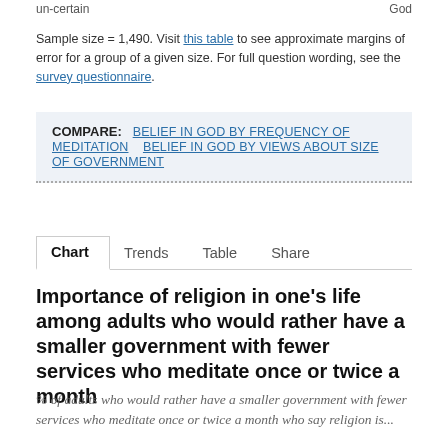un-certain   God
Sample size = 1,490. Visit this table to see approximate margins of error for a group of a given size. For full question wording, see the survey questionnaire.
COMPARE: BELIEF IN GOD BY FREQUENCY OF MEDITATION   BELIEF IN GOD BY VIEWS ABOUT SIZE OF GOVERNMENT
Chart   Trends   Table   Share
Importance of religion in one's life among adults who would rather have a smaller government with fewer services who meditate once or twice a month
% of adults who would rather have a smaller government with fewer services who meditate once or twice a month who say religion is...